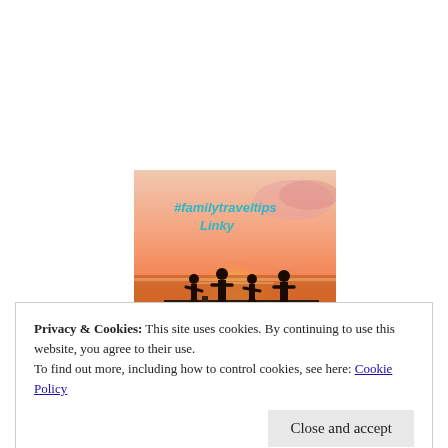[Figure (illustration): A sunset beach scene showing silhouettes of a family (adults and children) on a pier/dock with warm orange and pink sky. Text overlay reads '#familytraveltips Linky' in teal/turquoise font.]
Privacy & Cookies: This site uses cookies. By continuing to use this website, you agree to their use.
To find out more, including how to control cookies, see here: Cookie Policy
Close and accept